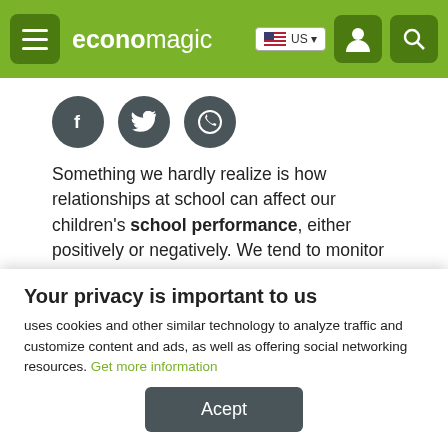economagic | US
[Figure (other): Three social media icons (Facebook, Twitter, WhatsApp) as dark circles]
Something we hardly realize is how relationships at school can affect our children's school performance, either positively or negatively. We tend to monitor what kind of friendship our children have outside of school and forget how much this school friendship can influence them. Therefore, we have decided to focus on this
Your privacy is important to us
uses cookies and other similar technology to analyze traffic and customize content and ads, as well as offering social networking resources. Get more information
Acept